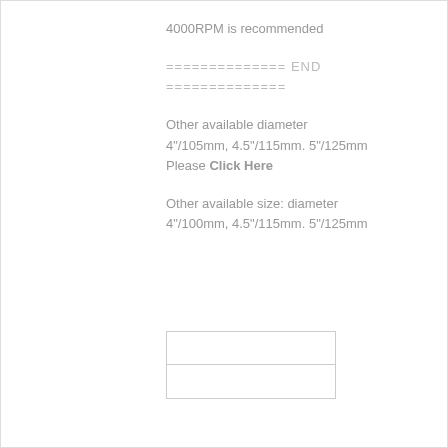4000RPM is recommended
============== END
==============
Other available diameter 4"/105mm, 4.5"/115mm. 5"/125mm
Please Click Here
Other available size: diameter 4"/100mm, 4.5"/115mm. 5"/125mm
[Figure (other): Small rectangular image placeholder with a horizontal dividing line]